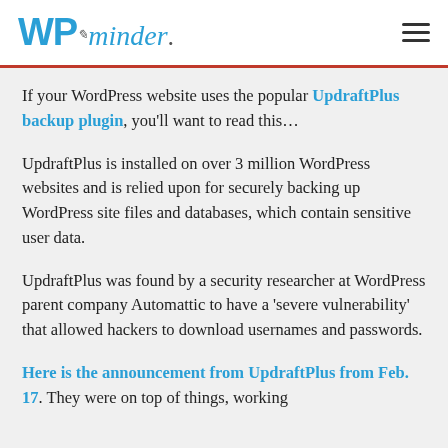WPminder
If your WordPress website uses the popular UpdraftPlus backup plugin, you'll want to read this…
UpdraftPlus is installed on over 3 million WordPress websites and is relied upon for securely backing up WordPress site files and databases, which contain sensitive user data.
UpdraftPlus was found by a security researcher at WordPress parent company Automattic to have a 'severe vulnerability' that allowed hackers to download usernames and passwords.
Here is the announcement from UpdraftPlus from Feb. 17. They were on top of things, working